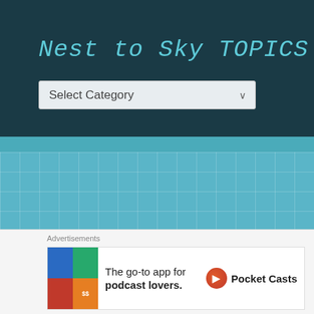Nest to Sky TOPICS
Select Category
Blog Mama~Kelly Salasin
[Figure (photo): Black and white profile photo of a person with wind-blown hair]
Advertisements
The go-to app for podcast lovers. Pocket Casts